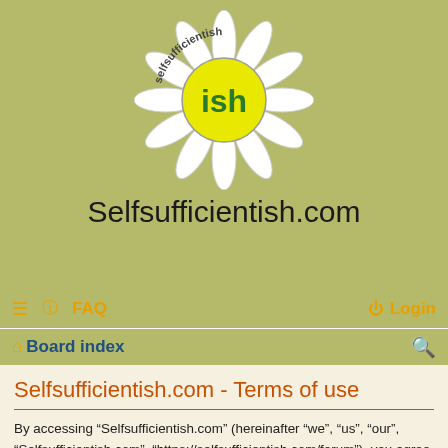[Figure (logo): Selfsufficientish.com daisy flower logo with 'ish' text in center yellow circle, white petals, and 'selfsufficientish' text around the outer ring]
Selfsufficientish.com
≡  ? FAQ    Login
⌂ Board index
Selfsufficientish.com - Terms of use
By accessing “Selfsufficientish.com” (hereinafter “we”, “us”, “our”, “Selfsufficientish.com”, “https://selfsufficientish.com/forum”), you agree to be legally bound by the following terms. If you do not agree to be legally bound by all of the following terms then please do not access and/or use “Selfsufficientish.com”. We may change these at any time and we’ll do our utmost in informing you, though it would be prudent to review this regularly yourself as your continued usage of “Selfsufficientish.com” after changes mean